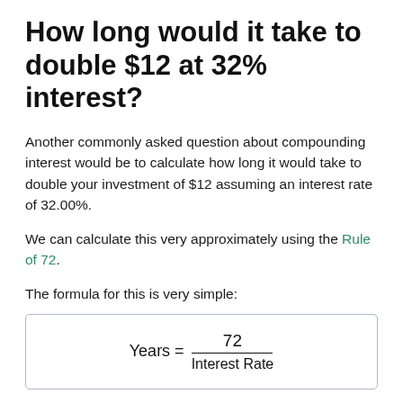How long would it take to double $12 at 32% interest?
Another commonly asked question about compounding interest would be to calculate how long it would take to double your investment of $12 assuming an interest rate of 32.00%.
We can calculate this very approximately using the Rule of 72.
The formula for this is very simple:
By dividing 72 by the interest rate given, we can